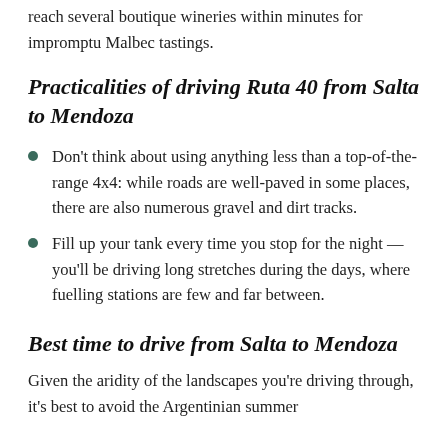reach several boutique wineries within minutes for impromptu Malbec tastings.
Practicalities of driving Ruta 40 from Salta to Mendoza
Don't think about using anything less than a top-of-the-range 4x4: while roads are well-paved in some places, there are also numerous gravel and dirt tracks.
Fill up your tank every time you stop for the night — you'll be driving long stretches during the days, where fuelling stations are few and far between.
Best time to drive from Salta to Mendoza
Given the aridity of the landscapes you're driving through, it's best to avoid the Argentinian summer